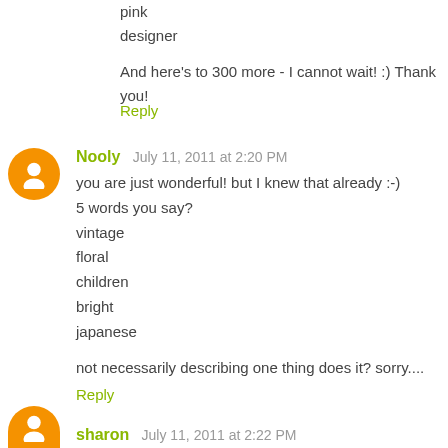pink
designer
And here's to 300 more - I cannot wait! :) Thank you!
Reply
Nooly  July 11, 2011 at 2:20 PM
you are just wonderful! but I knew that already :-)
5 words you say?
vintage
floral
children
bright
japanese
not necessarily describing one thing does it? sorry....
Reply
sharon  July 11, 2011 at 2:22 PM